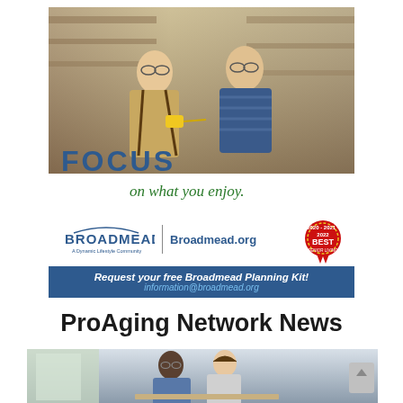[Figure (photo): Two elderly men in a woodshop workshop, one holding a measuring tape, conversing. Shelves with tools and materials in background. Text overlay reads 'FOCUS on what you enjoy.']
[Figure (logo): Broadmead logo with arc above text, divider line, and Broadmead.org URL. Best Senior Living badge 2020-2021-2022 on right.]
Request your free Broadmead Planning Kit! information@broadmead.org
ProAging Network News
[Figure (photo): Partial photo at bottom showing two people, one older man and a younger woman, looking down at something together.]